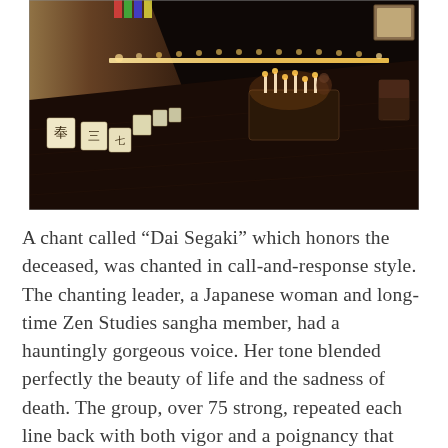[Figure (photo): Interior of a dimly lit room with dark hardwood floors. White paper lanterns with black Japanese calligraphy are lined along the left wall. Candles line the back wall. A table with candles and offerings sits in the center-right. A chair and framed artwork are visible in the background.]
A chant called “Dai Segaki” which honors the deceased, was chanted in call-and-response style. The chanting leader, a Japanese woman and long-time Zen Studies sangha member, had a hauntingly gorgeous voice. Her tone blended perfectly the beauty of life and the sadness of death. The group, over 75 strong, repeated each line back with both vigor and a poignancy that was stirringly deep. The